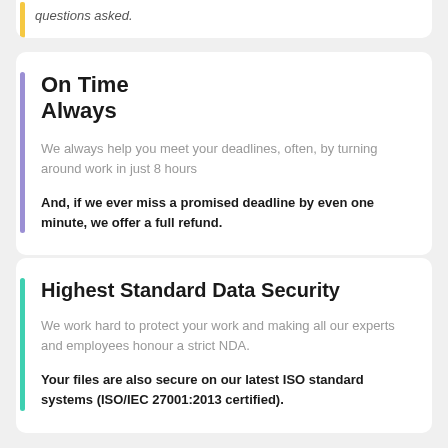questions asked.
On Time Always
We always help you meet your deadlines, often, by turning around work in just 8 hours
And, if we ever miss a promised deadline by even one minute, we offer a full refund.
Highest Standard Data Security
We work hard to protect your work and making all our experts and employees honour a strict NDA.
Your files are also secure on our latest ISO standard systems (ISO/IEC 27001:2013 certified).